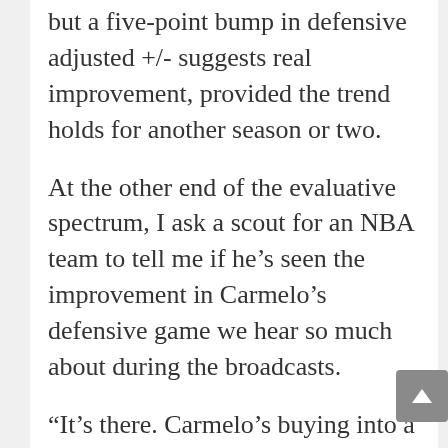but a five-point bump in defensive adjusted +/- suggests real improvement, provided the trend holds for another season or two.
At the other end of the evaluative spectrum, I ask a scout for an NBA team to tell me if he's seen the improvement in Carmelo's defensive game we hear so much about during the broadcasts.
“It’s there. Carmelo’s buying into a role,” the scout says. “You see it when it comes to containing dribble-penetration and as a weak side defender off the ball. That’s one of the